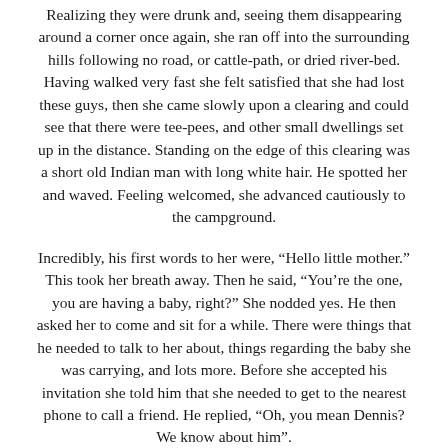Realizing they were drunk and, seeing them disappearing around a corner once again, she ran off into the surrounding hills following no road, or cattle-path, or dried river-bed. Having walked very fast she felt satisfied that she had lost these guys, then she came slowly upon a clearing and could see that there were tee-pees, and other small dwellings set up in the distance. Standing on the edge of this clearing was a short old Indian man with long white hair. He spotted her and waved. Feeling welcomed, she advanced cautiously to the campground.
Incredibly, his first words to her were, “Hello little mother.” This took her breath away. Then he said, “You’re the one, you are having a baby, right?” She nodded yes. He then asked her to come and sit for a while. There were things that he needed to talk to her about, things regarding the baby she was carrying, and lots more. Before she accepted his invitation she told him that she needed to get to the nearest phone to call a friend. He replied, “Oh, you mean Dennis? We know about him”.
It could be that he knew about me because I had written to Thomas Banyaca, who was the spokesperson, at this time, for the council of elders within the Hopi Nation. My letter echoed "the coming of the True White Brother" prophecy, and I had expressed my desire to